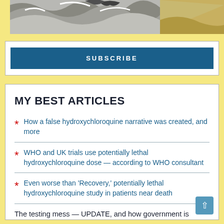[Figure (illustration): Black and white illustration of large ocean waves or mountains with what appears to be a desert/sand dune scene to the right]
SUBSCRIBE
MY BEST ARTICLES
How a false hydroxychloroquine narrative was created, and more
WHO and UK trials use potentially lethal hydroxychloroquine dose — according to WHO consultant
Even worse than 'Recovery,' potentially lethal hydroxychloroquine study in patients near death
The testing mess — UPDATE, and how government is cutting out the middleman (the healthcare system) in Covid testing